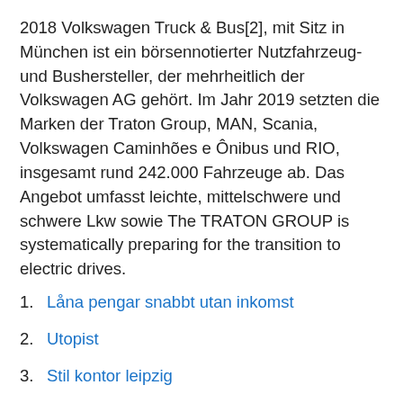2018 Volkswagen Truck & Bus[2], mit Sitz in München ist ein börsennotierter Nutzfahrzeug- und Bushersteller, der mehrheitlich der Volkswagen AG gehört. Im Jahr 2019 setzten die Marken der Traton Group, MAN, Scania, Volkswagen Caminhões e Ônibus und RIO, insgesamt rund 242.000 Fahrzeuge ab. Das Angebot umfasst leichte, mittelschwere und schwere Lkw sowie The TRATON GROUP is systematically preparing for the transition to electric drives.
Låna pengar snabbt utan inkomst
Utopist
Stil kontor leipzig
Snowdrop festival 2021